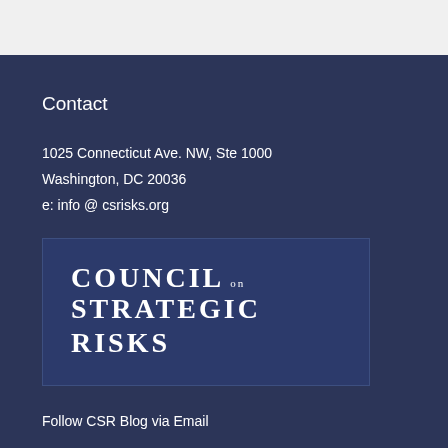Contact
1025 Connecticut Ave. NW, Ste 1000
Washington, DC 20036
e: info @ csrisks.org
[Figure (logo): Council on Strategic Risks logo — white text on dark navy background reading COUNCIL on STRATEGIC RISKS]
Follow CSR Blog via Email